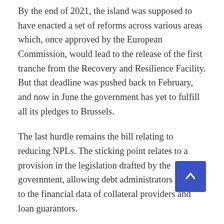By the end of 2021, the island was supposed to have enacted a set of reforms across various areas which, once approved by the European Commission, would lead to the release of the first tranche from the Recovery and Resilience Facility. But that deadline was pushed back to February, and now in June the government has yet to fulfill all its pledges to Brussels.
The last hurdle remains the bill relating to reducing NPLs. The sticking point relates to a provision in the legislation drafted by the government, allowing debt administrators access to the financial data of collateral providers and loan guarantors.
Opposition parties want the clause stricken from the [bill], arguing that since debt administrators do not own a loan, they should not have access to this data. In particular, such companies would get access to the ‘Artemis’ credit [database, maintained by the Central Bank of Cyprus].